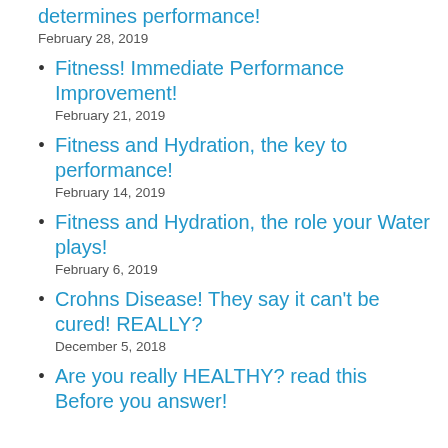determines performance!
February 28, 2019
Fitness! Immediate Performance Improvement!
February 21, 2019
Fitness and Hydration, the key to performance!
February 14, 2019
Fitness and Hydration, the role your Water plays!
February 6, 2019
Crohns Disease! They say it can't be cured! REALLY?
December 5, 2018
Are you really HEALTHY? read this Before you answer!